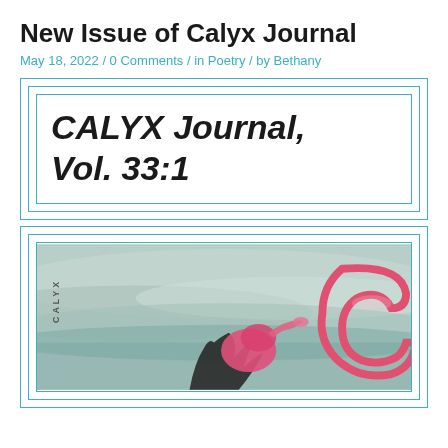New Issue of Calyx Journal
May 18, 2022 / 0 Comments / in Poetry / by Bethany
[Figure (other): CALYX Journal, Vol. 33:1 cover displayed in a nested border box with cyan/teal borders]
[Figure (illustration): Partial view of the CALYX Journal Vol. 33:1 magazine cover showing an underwater or ethereal scene with a figure in pink/magenta tones and the CALYX logo, with cyan nested borders]